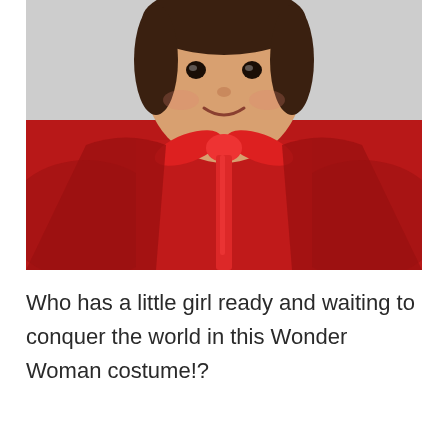[Figure (photo): A young smiling girl wearing a red Wonder Woman costume with a red satin ribbon tied in a bow at the neck, photographed against a light gray background, portrait style from waist up.]
Who has a little girl ready and waiting to conquer the world in this Wonder Woman costume!?